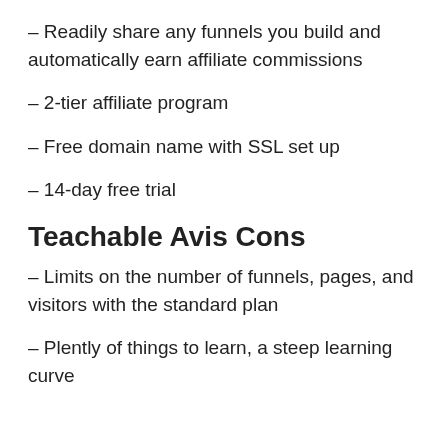– Readily share any funnels you build and automatically earn affiliate commissions
– 2-tier affiliate program
– Free domain name with SSL set up
– 14-day free trial
Teachable Avis Cons
– Limits on the number of funnels, pages, and visitors with the standard plan
– Plently of things to learn, a steep learning curve